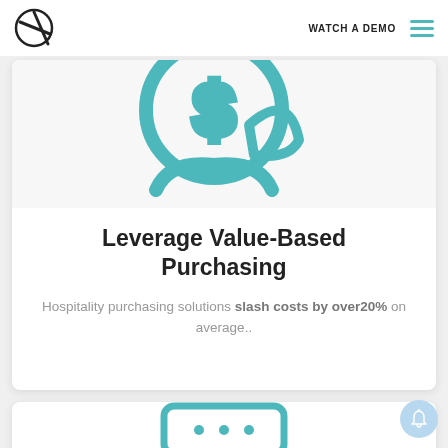WATCH A DEMO
[Figure (illustration): Teal outlined icon showing a dollar sign hand/coin symbol, partially cropped at top]
Leverage Value-Based Purchasing
Hospitality purchasing solutions slash costs by over20% on average..
[Figure (illustration): Teal outlined icon of a computer/monitor with three dots, partially visible at bottom]